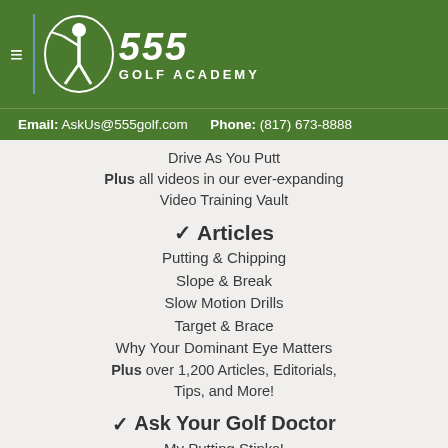555 Golf Academy
Email: AskUs@555golf.com   Phone: (817) 673-8888
Drive As You Putt
Plus all videos in our ever-expanding Video Training Vault
✓ Articles
Putting & Chipping
Slope & Break
Slow Motion Drills
Target & Brace
Why Your Dominant Eye Matters
Plus over 1,200 Articles, Editorials, Tips, and More!
✓ Ask Your Golf Doctor
My Putting Stinks!
Curing Divots